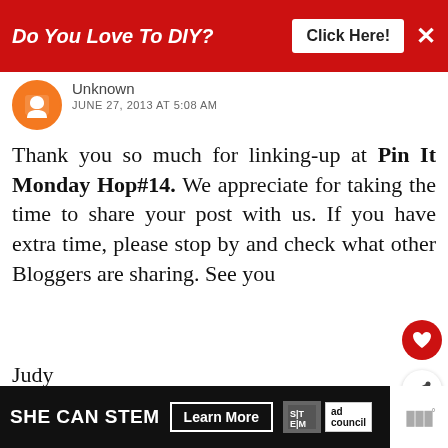[Figure (infographic): Red ad banner with text 'Do You Love To DIY?' and 'Click Here!' button and X close button]
Unknown
JUNE 27, 2013 AT 5:08 AM
Thank you so much for linking-up at Pin It Monday Hop#14. We appreciate for taking the time to share your post with us. If you have extra time, please stop by and check what other Bloggers are sharing. See you

Judy
Pursuit Of Functional Hom
REPLY DELETE
[Figure (infographic): Bottom advertisement banner: SHE CAN STEM Learn More with STEM and Ad Council logos]